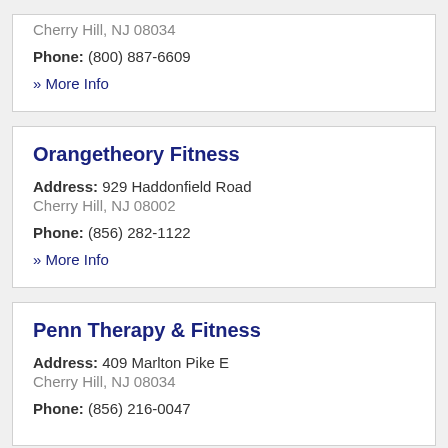Cherry Hill, NJ 08034
Phone: (800) 887-6609
» More Info
Orangetheory Fitness
Address: 929 Haddonfield Road
Cherry Hill, NJ 08002
Phone: (856) 282-1122
» More Info
Penn Therapy & Fitness
Address: 409 Marlton Pike E
Cherry Hill, NJ 08034
Phone: (856) 216-0047